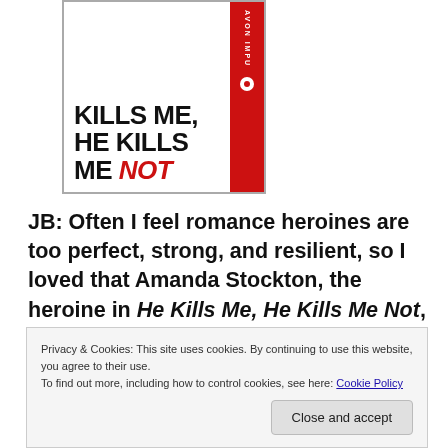[Figure (illustration): Book cover of 'He Kills Me, He Kills Me Not' from Avon Impulse. White background with large bold black text showing the title, with 'NOT' in red italic. A red spine strip on the right side with 'AVON IMPULSE' text and a small icon.]
JB: Often I feel romance heroines are too perfect, strong, and resilient, so I loved that Amanda Stockton, the heroine in He Kills Me, He Kills Me Not, is still really struggling a few years after surviving a
Privacy & Cookies: This site uses cookies. By continuing to use this website, you agree to their use.
To find out more, including how to control cookies, see here: Cookie Policy
Close and accept